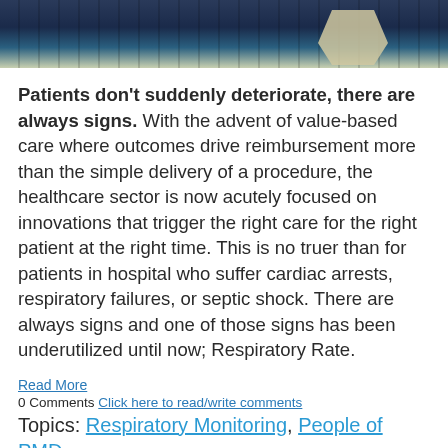[Figure (photo): Cropped photo showing a medical device or instrument against a dark blue background, partially visible at the top of the page]
Patients don't suddenly deteriorate, there are always signs. With the advent of value-based care where outcomes drive reimbursement more than the simple delivery of a procedure, the healthcare sector is now acutely focused on innovations that trigger the right care for the right patient at the right time. This is no truer than for patients in hospital who suffer cardiac arrests, respiratory failures, or septic shock. There are always signs and one of those signs has been underutilized until now; Respiratory Rate.
Read More
0 Comments Click here to read/write comments
Topics: Respiratory Monitoring, People of PMD